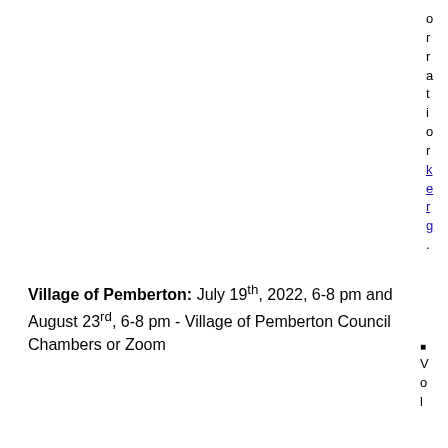o r r a t i o o l k e r n g . V o l
Village of Pemberton: July 19th, 2022, 6-8 pm and August 23rd, 6-8 pm - Village of Pemberton Council Chambers or Zoom
V o l